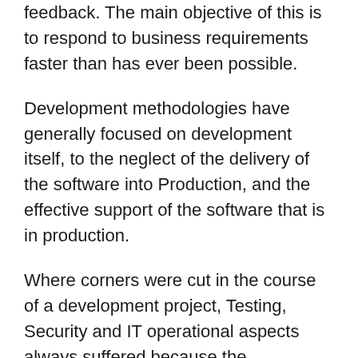feedback. The main objective of this is to respond to business requirements faster than has ever been possible.
Development methodologies have generally focused on development itself, to the neglect of the delivery of the software into Production, and the effective support of the software that is in production.
Where corners were cut in the course of a development project, Testing, Security and IT operational aspects always suffered because the deliverables were harder to quantify. The results of this are well known and extremely costly to put right. If the project happens to be of an IT Transformation type, then skimping on operational aspects will have an obvious widespread impact.